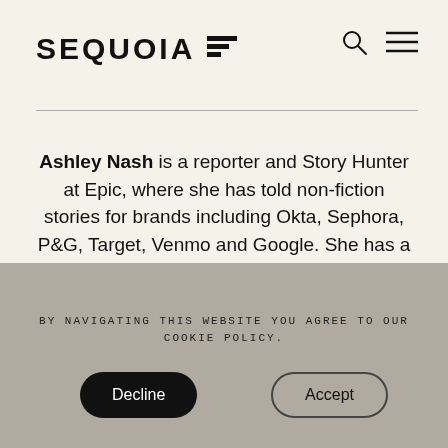SEQUOIA
Ashley Nash is a reporter and Story Hunter at Epic, where she has told non-fiction stories for brands including Okta, Sephora, P&G, Target, Venmo and Google. She has a passion for exploring the intersection(s) between identity and expression.
BY NAVIGATING THIS WEBSITE YOU AGREE TO OUR COOKIE POLICY.